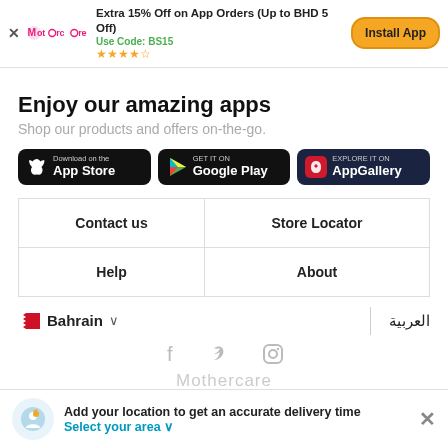[Figure (screenshot): Mothercare app install banner at top of mobile page with logo, discount text, star rating, and Install App button]
Enjoy our amazing apps
Shop our products and offers on-the-go.
[Figure (other): Three app store download buttons: App Store, Google Play, and AppGallery]
| Contact us | Store Locator |
| --- | --- |
| Help | About |
Bahrain ∨
العربية
[Figure (other): Social media icons: Facebook, Twitter, Instagram]
Add your location to get an accurate delivery time
Select your area ∨
Mothercare